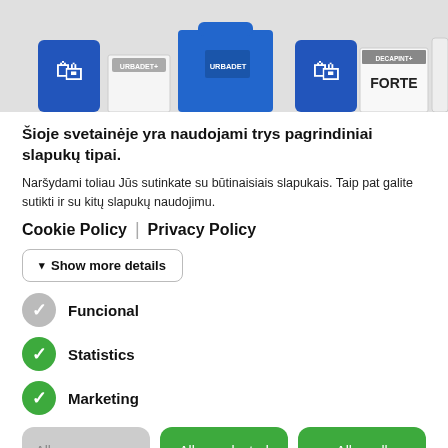[Figure (screenshot): Header image strip showing product containers: URBADET+ and DECAPINT+ FORTE labeled containers/canisters with shopping bag icons]
Šioje svetainėje yra naudojami trys pagrindiniai slapukų tipai.
Naršydami toliau Jūs sutinkate su būtinaisiais slapukais. Taip pat galite sutikti ir su kitų slapukų naudojimu.
Cookie Policy | Privacy Policy
▾ Show more details
Funcional
Statistics
Marketing
Allow necessary | Allow selected | Allow all